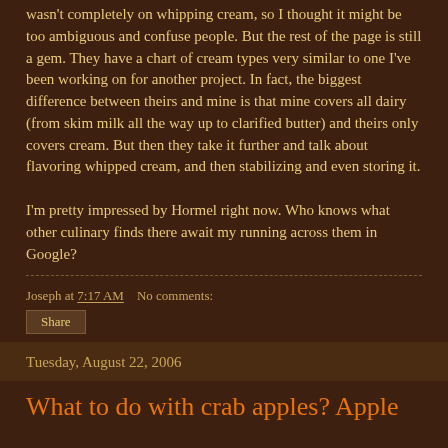wasn't completely on whipping cream, so I thought it might be too ambiguous and confuse people. But the rest of the page is still a gem. They have a chart of cream types very similar to one I've been working on for another project. In fact, the biggest difference between theirs and mine is that mine covers all dairy (from skim milk all the way up to clarified butter) and theirs only covers cream. But then they take it further and talk about flavoring whipped cream, and then stabilizing and even storing it.
I'm pretty impressed by Hormel right now. Who knows what other culinary finds there await my running across them in Google?
Joseph at 7:17 AM    No comments:
Share
Tuesday, August 22, 2006
What to do with crab apples? Apple